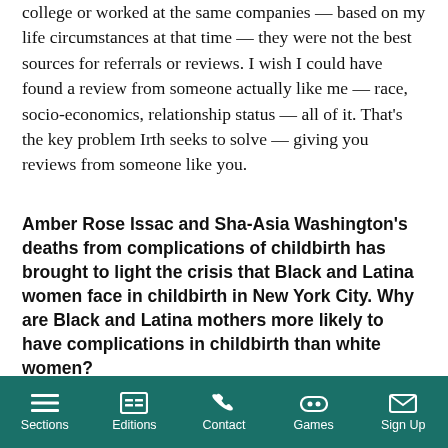college or worked at the same companies — based on my life circumstances at that time — they were not the best sources for referrals or reviews. I wish I could have found a review from someone actually like me — race, socio-economics, relationship status — all of it. That's the key problem Irth seeks to solve — giving you reviews from someone like you.
Amber Rose Issac and Sha-Asia Washington's deaths from complications of childbirth has brought to light the crisis that Black and Latina women face in childbirth in New York City. Why are Black and Latina mothers more likely to have complications in childbirth than white women?
All women can face complications after childbirth — but Black
Sections   Editions   Contact   Games   Sign Up